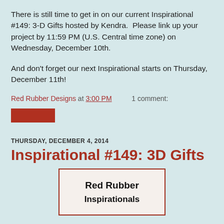There is still time to get in on our current Inspirational #149: 3-D Gifts hosted by Kendra.  Please link up your project by 11:59 PM (U.S. Central time zone) on Wednesday, December 10th.
And don't forget our next Inspirational starts on Thursday, December 11th!
Red Rubber Designs at 3:00 PM    1 comment:
[Figure (other): Red button/widget element]
THURSDAY, DECEMBER 4, 2014
Inspirational #149: 3D Gifts
[Figure (illustration): Red Rubber Inspirationals logo/badge with border, text reads 'Red Rubber Inspirationals']